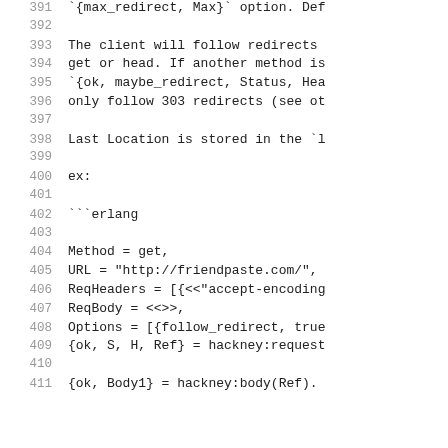391  `{max_redirect, Max}` option. Def
392  
393  The client will follow redirects
394  get or head. If another method is
395  `{ok, maybe_redirect, Status, Hea
396  only follow 303 redirects (see ot
397  
398  Last Location is stored in the `l
399  
400  ex:
401  
402  ```erlang
403  
404  Method = get,
405  URL = "http://friendpaste.com/",
406  ReqHeaders = [{<<"accept-encoding
407  ReqBody = <<>>,
408  Options = [{follow_redirect, true
409  {ok, S, H, Ref} = hackney:request
410  
411  {ok, Body1} = hackney:body(Ref).